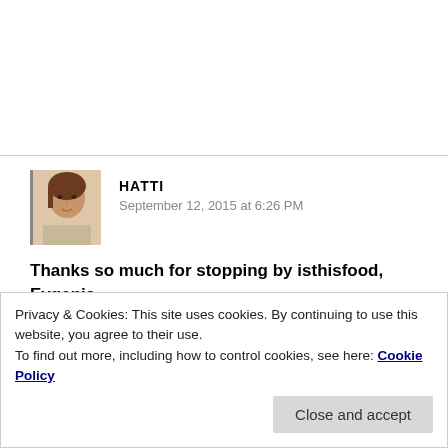[Figure (photo): Avatar photo of commenter Hatti — a young woman with brown hair against a light background]
HATTI
September 12, 2015 at 6:26 PM
Thanks so much for stopping by isthisfood, Evgenia.
Your blog looks awesome – can't wait to check out your scrumptious looking recipes properly!
Privacy & Cookies: This site uses cookies. By continuing to use this website, you agree to their use.
To find out more, including how to control cookies, see here: Cookie Policy